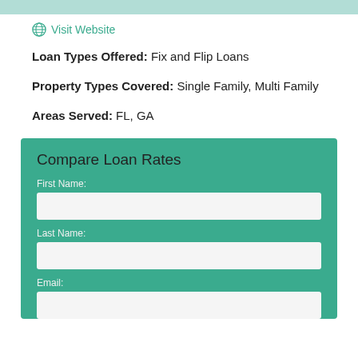Visit Website
Loan Types Offered: Fix and Flip Loans
Property Types Covered: Single Family, Multi Family
Areas Served: FL, GA
Compare Loan Rates
First Name:
Last Name:
Email: